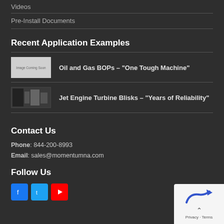Videos
Pre-Install Documents
Recent Application Examples
Oil and Gas BOPs – "One Tough Machine"
Jet Engine Turbine Blisks – "Years of Reliability"
Contact Us
Phone: 844-200-8993
Email: sales@momentumna.com
Follow Us